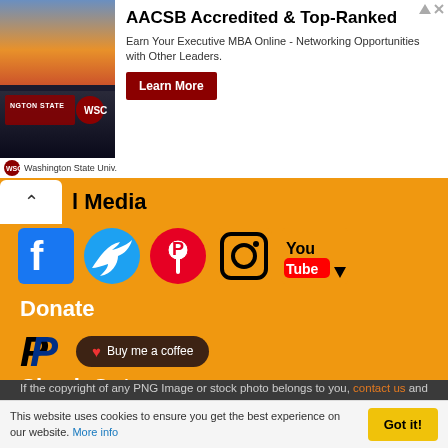[Figure (screenshot): Advertisement banner for Washington State University AACSB Accredited Executive MBA Online program with Learn More button, photo of WSU sign, and small WSU logo]
l Media
[Figure (infographic): Social media icons row: Facebook, Twitter, Pinterest, Instagram, YouTube on orange background]
Donate
[Figure (infographic): PayPal logo and Buy me a coffee button on orange background]
Check Out
[Figure (logo): Purple aperture/shutter icon on orange background]
If the copyright of any PNG Image or stock photo belongs to you, contact us and we will remove it!
This website uses cookies to ensure you get the best experience on our website. More info